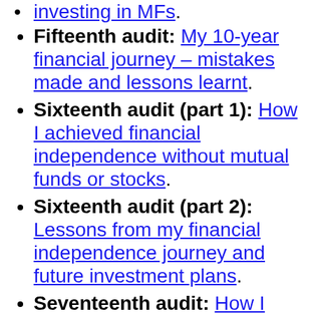investing in MFs. (partial, link)
Fifteenth audit: My 10-year financial journey – mistakes made and lessons learnt.
Sixteenth audit (part 1): How I achieved financial independence without mutual funds or stocks.
Sixteenth audit (part 2): Lessons from my financial independence journey and future investment plans.
Seventeenth audit: How I plan to achieve financial (partial)